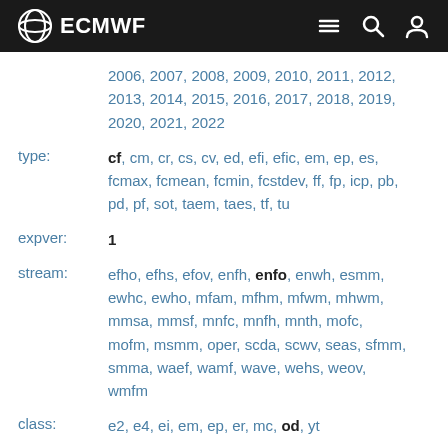ECMWF
2006, 2007, 2008, 2009, 2010, 2011, 2012, 2013, 2014, 2015, 2016, 2017, 2018, 2019, 2020, 2021, 2022
type: cf, cm, cr, cs, cv, ed, efi, efic, em, ep, es, fcmax, fcmean, fcmin, fcstdev, ff, fp, icp, pb, pd, pf, sot, taem, taes, tf, tu
expver: 1
stream: efho, efhs, efov, enfh, enfo, enwh, esmm, ewhc, ewho, mfam, mfhm, mfwm, mhwm, mmsa, mmsf, mnfc, mnfh, mnth, mofc, mofm, msmm, oper, scda, scwv, seas, sfmm, smma, waef, wamf, wave, wehs, weov, wmfm
class: e2, e4, ei, em, ep, er, mc, od, yt